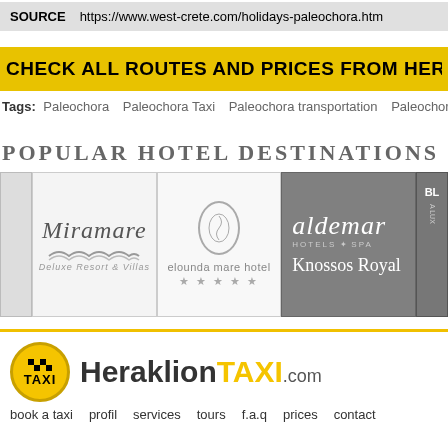SOURCE  https://www.west-crete.com/holidays-paleochora.htm
CHECK ALL ROUTES AND PRICES FROM HERAKLION AIRPORT
Tags: Paleochora  Paleochora Taxi  Paleochora transportation  Paleochora airport ta
POPULAR HOTEL DESTINATIONS
[Figure (logo): Hotel logos row: partial left cell, Miramare Deluxe Resort & Villas, Elounda Mare Hotel (5 stars), Aldemar Hotels & Spa / Knossos Royal, partial right cell (BL A LUX)]
[Figure (logo): HeraklionTAXI.com logo with taxi badge icon]
book a taxi  profil  services  tours  f.a.q  prices  contact